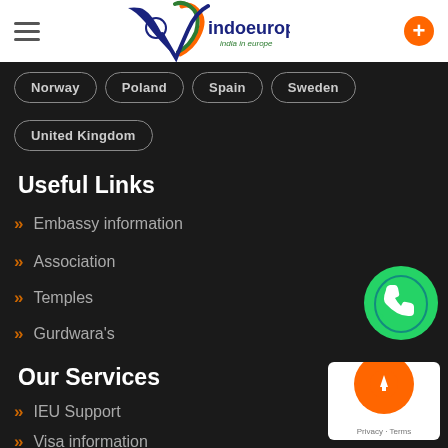indoeuropean.eu — india in europe
Norway
Poland
Spain
Sweden
United Kingdom
Useful Links
Embassy information
Association
Temples
Gurdwara's
Our Services
IEU Support
Visa information